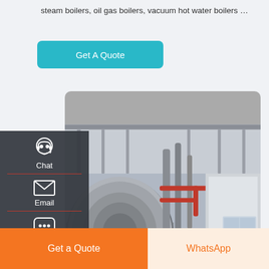steam boilers, oil gas boilers, vacuum hot water boilers …
[Figure (other): Teal/cyan rounded button labeled 'Get A Quote']
[Figure (photo): Industrial boiler plant interior photo showing large cylindrical metal steam boiler with red piping and industrial infrastructure]
[Figure (infographic): Dark sidebar overlay with Chat (headset icon), Email (envelope icon), and Contact (speech bubble icon) navigation items separated by red dividers]
[Figure (other): Scroll-to-top white square button with upward arrow icon]
Industrial 1 Ton Gas Boiler Plant Ukraine
[Figure (other): Bottom navigation bar with orange 'Get a Quote' button on left and light orange 'WhatsApp' button on right]